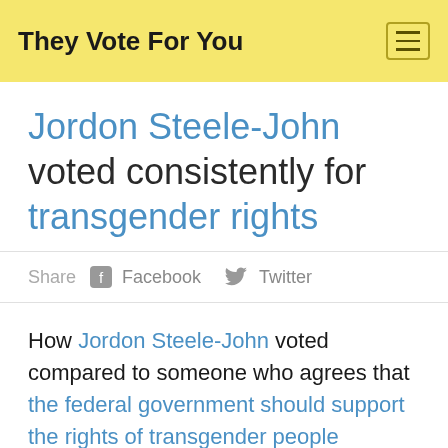They Vote For You
Jordon Steele-John voted consistently for transgender rights
Share  Facebook  Twitter
How Jordon Steele-John voted compared to someone who agrees that the federal government should support the rights of transgender people (including genderfluid, nonbinary and genderqueer people) by amending laws and